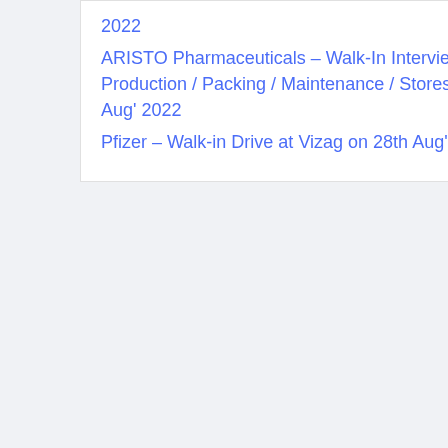2022
ARISTO Pharmaceuticals – Walk-In Interviews for QA / QC / Production / Packing / Maintenance / Stores / BSR on 28th Aug' 2022
Pfizer – Walk-in Drive at Vizag on 28th Aug' 2022